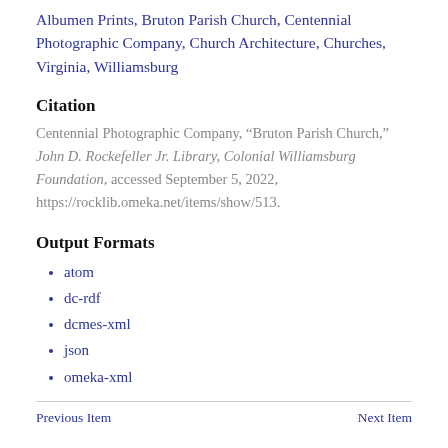Albumen Prints, Bruton Parish Church, Centennial Photographic Company, Church Architecture, Churches, Virginia, Williamsburg
Citation
Centennial Photographic Company, “Bruton Parish Church,” John D. Rockefeller Jr. Library, Colonial Williamsburg Foundation, accessed September 5, 2022, https://rocklib.omeka.net/items/show/513.
Output Formats
atom
dc-rdf
dcmes-xml
json
omeka-xml
Previous Item   Next Item